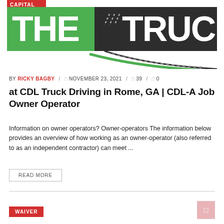[Figure (logo): The Trucker publication logo with CAPITAL tag, green and dark charcoal colors, road/highway graphic]
BY RICKY BAGBY / □ NOVEMBER 23, 2021 / □ 39 / □ 0
at CDL Truck Driving in Rome, GA | CDL-A Job Owner Operator
Information on owner operators? Owner-operators The information below provides an overview of how working as an owner-operator (also referred to as an independent contractor) can meet ...
READ MORE
WAIVER